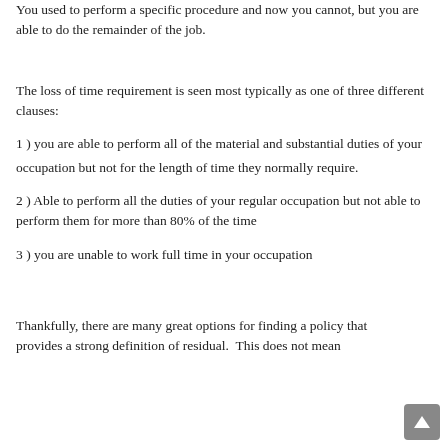You used to perform a specific procedure and now you cannot, but you are able to do the remainder of the job.
The loss of time requirement is seen most typically as one of three different clauses:
1) you are able to perform all of the material and substantial duties of your
occupation but not for the length of time they normally require.
2) Able to perform all the duties of your regular occupation but not able to perform them for more than 80% of the time
3) you are unable to work full time in your occupation
Thankfully, there are many great options for finding a policy that provides a strong definition of residual. This does not mean